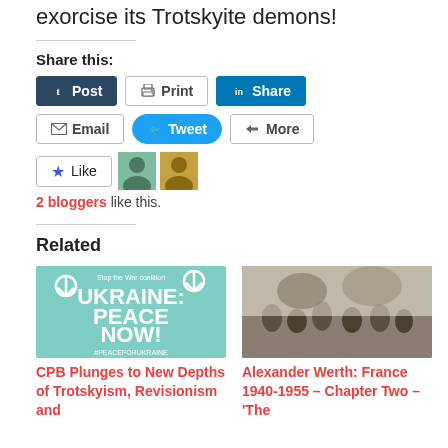exorcise its Trotskyite demons!
Share this:
Post | Print | Share | Email | Tweet | More
Like | 2 bloggers like this.
Related
CPB Plunges to New Depths of Trotskyism, Revisionism and
Alexander Werth: France 1940-1955 – Chapter Two – 'The